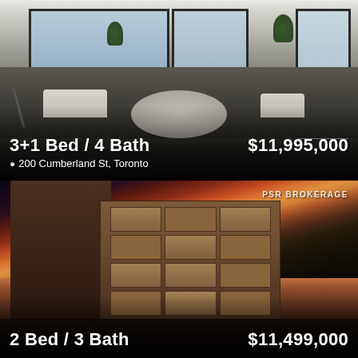[Figure (photo): Interior photo of a luxury penthouse living room with floor-to-ceiling windows overlooking a city skyline, featuring white/cream furniture arranged around a circular coffee table, with a telescope visible on the left]
3+1 Bed / 4 Bath
$11,995,000
200 Cumberland St, Toronto
[Figure (photo): Exterior dusk/sunset photo of a mixed-use brick building complex in an urban Toronto neighbourhood, with dramatic orange and purple sky]
PSR BROKERAGE
2 Bed / 3 Bath
$11,499,000